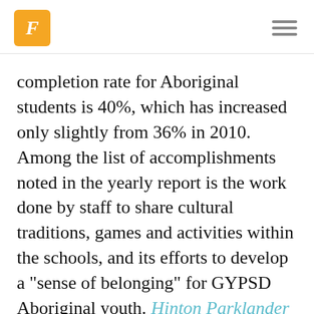F [logo] [hamburger menu]
completion rate for Aboriginal students is 40%, which has increased only slightly from 36% in 2010. Among the list of accomplishments noted in the yearly report is the work done by staff to share cultural traditions, games and activities within the schools, and its efforts to develop a "sense of belonging" for GYPSD Aboriginal youth. Hinton Parklander
uRegina opens expanded